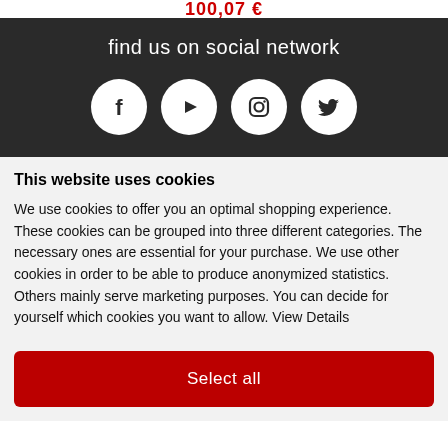100,07 €
find us on social network
[Figure (infographic): Four social media icon circles on dark background: Facebook, YouTube, Instagram, Twitter]
This website uses cookies
We use cookies to offer you an optimal shopping experience. These cookies can be grouped into three different categories. The necessary ones are essential for your purchase. We use other cookies in order to be able to produce anonymized statistics. Others mainly serve marketing purposes. You can decide for yourself which cookies you want to allow. View Details
Select all